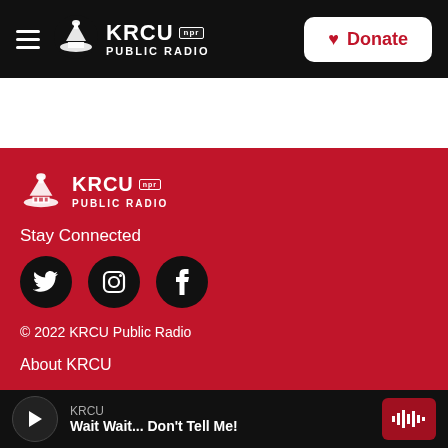[Figure (logo): KRCU NPR Public Radio logo and navigation bar with hamburger menu and Donate button on black background]
[Figure (logo): KRCU NPR Public Radio footer logo on red background]
Stay Connected
[Figure (infographic): Three social media icon circles: Twitter (bird), Instagram (camera), Facebook (f)]
© 2022 KRCU Public Radio
About KRCU
KRCU  Wait Wait... Don't Tell Me!